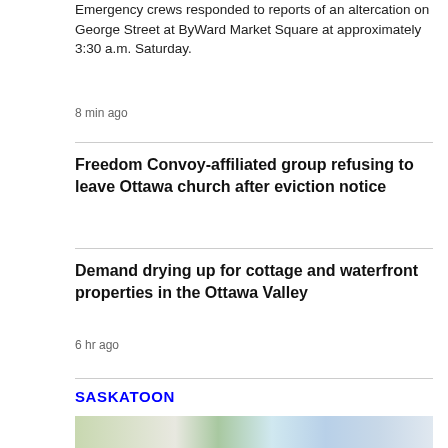Emergency crews responded to reports of an altercation on George Street at ByWard Market Square at approximately 3:30 a.m. Saturday.
8 min ago
Freedom Convoy-affiliated group refusing to leave Ottawa church after eviction notice
Demand drying up for cottage and waterfront properties in the Ottawa Valley
6 hr ago
SASKATOON
[Figure (photo): Photo strip showing what appears to be plants/nature on the left and dental/medical equipment on the right]